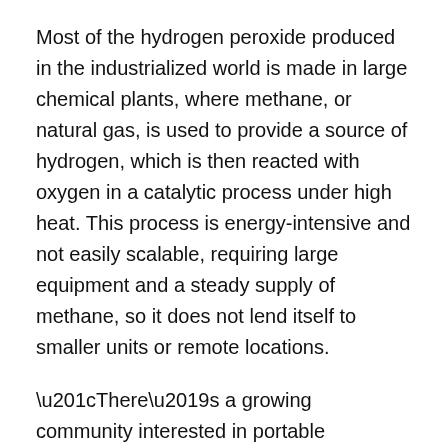Most of the hydrogen peroxide produced in the industrialized world is made in large chemical plants, where methane, or natural gas, is used to provide a source of hydrogen, which is then reacted with oxygen in a catalytic process under high heat. This process is energy-intensive and not easily scalable, requiring large equipment and a steady supply of methane, so it does not lend itself to smaller units or remote locations.
“There’s a growing community interested in portable hydrogen peroxide,” Surendranath says, “because of the appreciation that it would really meet a lot of needs, both on the industrial side as well as in terms of human health and sanitation.”
Other processes, developed so far for potentially